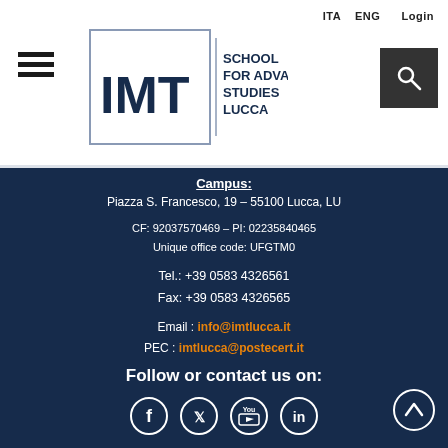ITA  ENG  Login
[Figure (logo): IMT School for Advanced Studies Lucca logo with hamburger menu and search button]
Campus:
Piazza S. Francesco, 19 – 55100 Lucca, LU
CF: 92037570469 – PI: 02235840465
Unique office code: UFGTM0
Tel.: +39 0583 4326561
Fax: +39 0583 4326565
Email: info@imtlucca.it
PEC: imtlucca@postecert.it
Follow or contact us on:
[Figure (infographic): Social media icons: Facebook, Twitter, YouTube, LinkedIn]